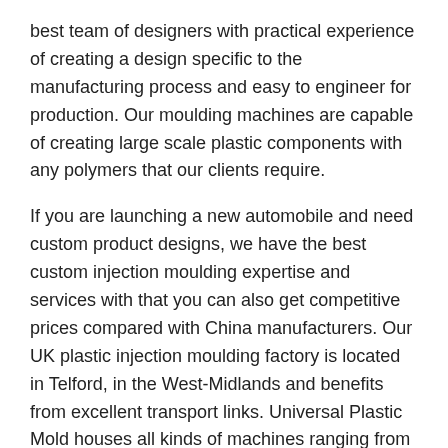best team of designers with practical experience of creating a design specific to the manufacturing process and easy to engineer for production. Our moulding machines are capable of creating large scale plastic components with any polymers that our clients require.
If you are launching a new automobile and need custom product designs, we have the best custom injection moulding expertise and services with that you can also get competitive prices compared with China manufacturers. Our UK plastic injection moulding factory is located in Telford, in the West-Midlands and benefits from excellent transport links. Universal Plastic Mold houses all kinds of machines ranging from 240 tons to 2,000 tons so that you can be confident we have the equipment you need for your plastic manufacturing requirements. This is due to the size limitations of injection mold machines and the mold tools themselves.